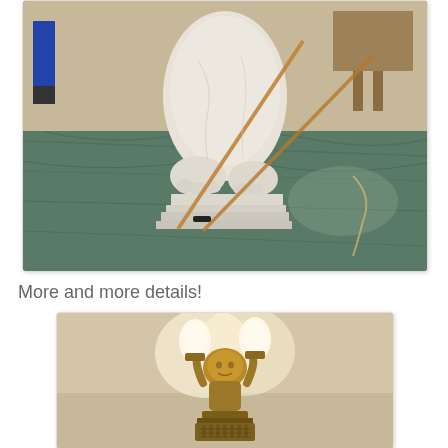[Figure (photo): Close-up photo of the lower body and base of a white marble animal statue (likely a lion or eagle) on a green marble floor. Two diagonal wooden or metal rods are leaning against the statue. People's legs and furniture are visible in the background.]
More and more details!
[Figure (photo): Photo of a decorative lamp or sconce featuring a golden figurine (face/head with raised arms) holding two lit candle-style bulbs with warm yellow flame-shaped lights. The figure sits on an ornate pedestal base.]